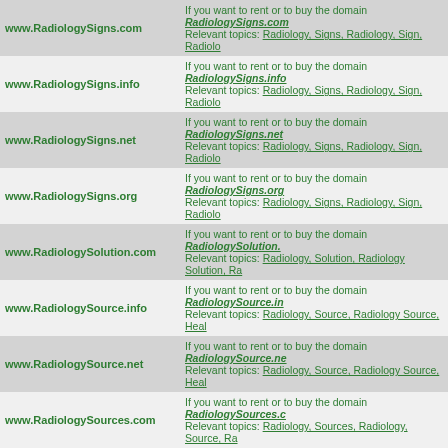| Domain | Description |
| --- | --- |
| www.RadiologySigns.com | If you want to rent or to buy the domain RadiologySigns.com
Relevant topics: Radiology, Signs, Radiology, Sign, Radiolo... |
| www.RadiologySigns.info | If you want to rent or to buy the domain RadiologySigns.info
Relevant topics: Radiology, Signs, Radiology, Sign, Radiolo... |
| www.RadiologySigns.net | If you want to rent or to buy the domain RadiologySigns.net
Relevant topics: Radiology, Signs, Radiology, Sign, Radiolo... |
| www.RadiologySigns.org | If you want to rent or to buy the domain RadiologySigns.org
Relevant topics: Radiology, Signs, Radiology, Sign, Radiolo... |
| www.RadiologySolution.com | If you want to rent or to buy the domain RadiologySolution.
Relevant topics: Radiology, Solution, Radiology Solution, R... |
| www.RadiologySource.info | If you want to rent or to buy the domain RadiologySource.in
Relevant topics: Radiology, Source, Radiology Source, Heal... |
| www.RadiologySource.net | If you want to rent or to buy the domain RadiologySource.ne
Relevant topics: Radiology, Source, Radiology Source, Heal... |
| www.RadiologySources.com | If you want to rent or to buy the domain RadiologySources.c
Relevant topics: Radiology, Sources, Radiology, Source, Ra... |
| www.RadiologyStudents.net | If you want to rent or to buy the domain RadiologyStudents.
Relevant topics: Radiology, Students, Radiology, Student, R... |
| www.RadiologySuccess.com | If you want to rent or to buy the domain RadiologySuccess.c
Relevant topics: Radiology, Success, Radiology, Succes, Ra... |
| www.RadiologySupport.com | If you want to rent or to buy the domain RadiologySupport.c
Relevant topics: Radiology, Support, Radiology Support, He... |
| www.RadiologyTalk.com | If you want to rent or to buy the domain RadiologyTalk.com
Relevant topics: Radiology, Talk, Radiology Talk, Health, M... |
| www.RadiologyTeacher.com | If you want to rent or to buy the domain RadiologyTeacher.c
Relevant topics: Radiology, Teacher, Radiology Teacher, He... |
| www.RadiologyTeaching.net | If you want to rent or to buy the domain RadiologyTeaching
Relevant topics: Radiology, Teaching, Radiology Teaching, R... |
| www.RadiologyTeachingfiles.com | If you want to rent or to buy the domain RadiologyTeaching
Relevant topics: Radiology, Teachingfiles, Radiology, Teach...
Teachingfiles. |
| www.RadiologyTextbook.com | If you want to rent or to buy the domain RadiologyTextbook.
Relevant topics: Radiology, Textbook, Radiology, Textbo... |